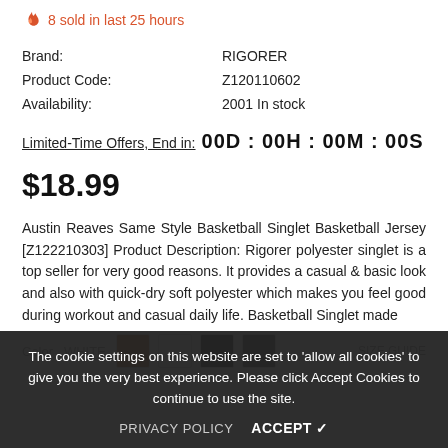8 sold in last 25 hours
| Brand: | RIGORER |
| Product Code: | Z120110602 |
| Availability: | 2001 In stock |
Limited-Time Offers, End in: 00D : 00H : 00M : 00S
$18.99
Austin Reaves Same Style Basketball Singlet Basketball Jersey [Z122210303] Product Description: Rigorer polyester singlet is a top seller for very good reasons. It provides a casual & basic look and also with quick-dry soft polyester which makes you feel good during workout and casual daily life. Basketball Singlet made
The cookie settings on this website are set to 'allow all cookies' to give you the very best experience. Please click Accept Cookies to continue to use the site.
PRIVACY POLICY   ACCEPT ✓